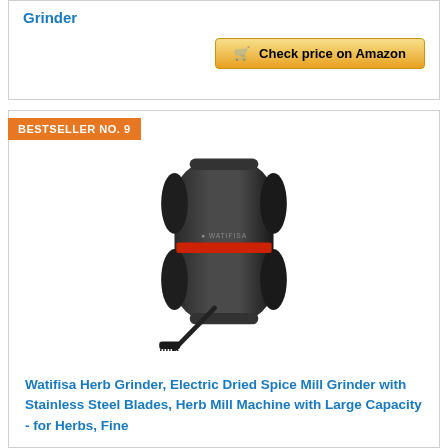Grinder
Check price on Amazon
BESTSELLER NO. 9
[Figure (photo): Watifisa electric herb grinder in black with red stripe and black cleaning brush, viewed from the front.]
Watifisa Herb Grinder, Electric Dried Spice Mill Grinder with Stainless Steel Blades, Herb Mill Machine with Large Capacity - for Herbs, Fine